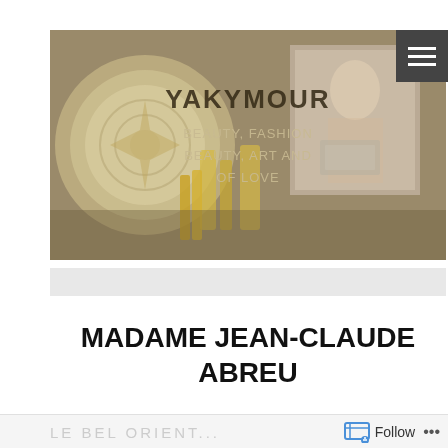[Figure (photo): Blog header banner photo showing luxury beauty products including perfume bottles, powder compacts, and lipsticks in gold tones, with an overlaid portrait of a woman. Text overlay reads YAKYMOUR, BEAUTY FASHION, BEAUTY ART AND, OF LOVE.]
MADAME JEAN-CLAUDE ABREU
[Figure (photo): Partial banner at the bottom of the page with Follow button and ellipsis navigation.]